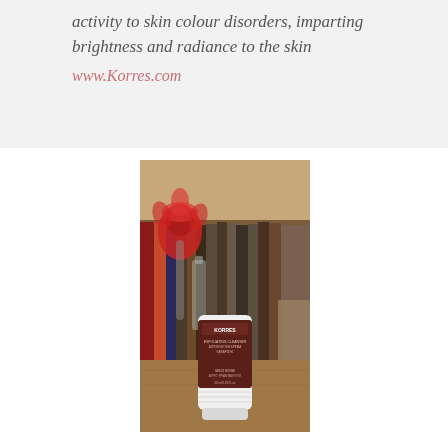activity to skin colour disorders, imparting brightness and radiance to the skin
www.Korres.com
[Figure (photo): Photo of a Korres Exfoliating Cleanser product tube (white and dark brown/maroon packaging) standing on a wooden surface in front of a bookshelf with books. A red glass flower vase and a clear glass perfume bottle are visible on the left side.]